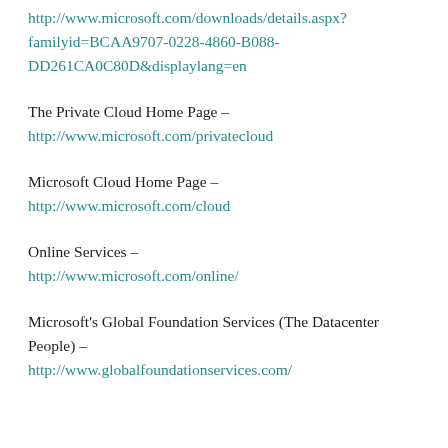http://www.microsoft.com/downloads/details.aspx?familyid=BCAA9707-0228-4860-B088-DD261CA0C80D&displaylang=en
The Private Cloud Home Page – http://www.microsoft.com/privatecloud
Microsoft Cloud Home Page – http://www.microsoft.com/cloud
Online Services – http://www.microsoft.com/online/
Microsoft's Global Foundation Services (The Datacenter People) – http://www.globalfoundationservices.com/